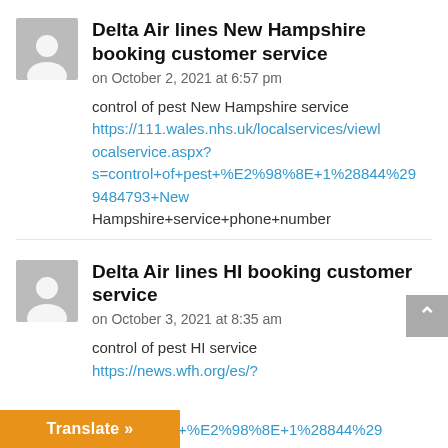Delta Air lines New Hampshire booking customer service
on October 2, 2021 at 6:57 pm
control of pest New Hampshire service https://111.wales.nhs.uk/localservices/viewlocalservice.aspx?s=control+of+pest+%E2%98%8E+1%28844%299484793+New Hampshire+service+phone+number
Delta Air lines HI booking customer service
on October 3, 2021 at 8:35 am
control of pest HI service https://news.wfh.org/es/?ol+of+pest+%E2%98%8E+1%28844%29